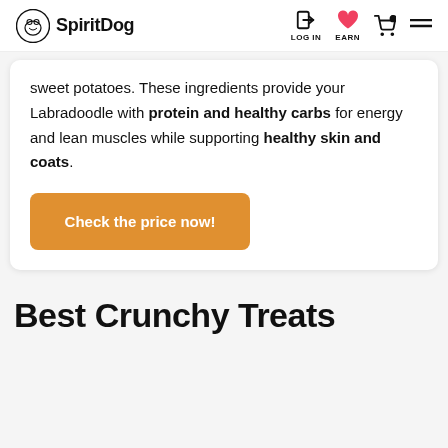SpiritDog — LOG IN | EARN | cart | menu
sweet potatoes. These ingredients provide your Labradoodle with protein and healthy carbs for energy and lean muscles while supporting healthy skin and coats.
Check the price now!
Best Crunchy Treats